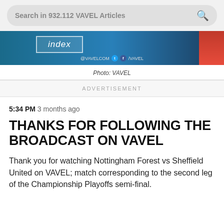Search in 932.112 VAVEL Articles
[Figure (photo): VAVEL sports broadcast banner with index logo and social media handles @VAVELCOM Twitter Facebook /VAVEL, with red panel on right side]
Photo: VAVEL
ADVERTISEMENT
5:34 PM  3 months ago
THANKS FOR FOLLOWING THE BROADCAST ON VAVEL
Thank you for watching Nottingham Forest vs Sheffield United on VAVEL; match corresponding to the second leg of the Championship Playoffs semi-final.